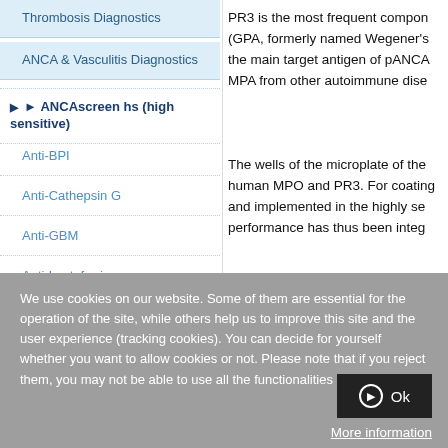Thrombosis Diagnostics
ANCA & Vasculitis Diagnostics
ANCAscreen hs (high sensitive)
Anti-BPI
Anti-Cathepsin G
Anti-GBM
Anti-Lactoferrin
Anti-Lysozyme
PR3 is the most frequent compon (GPA, formerly named Wegener's the main target antigen of pANCA MPA from other autoimmune dise
The wells of the microplate of the human MPO and PR3. For coating and implemented in the highly se performance has thus been integ
We use cookies on our website. Some of them are essential for the operation of the site, while others help us to improve this site and the user experience (tracking cookies). You can decide for yourself whether you want to allow cookies or not. Please note that if you reject them, you may not be able to use all the functionalities of the site.
Ok
More information